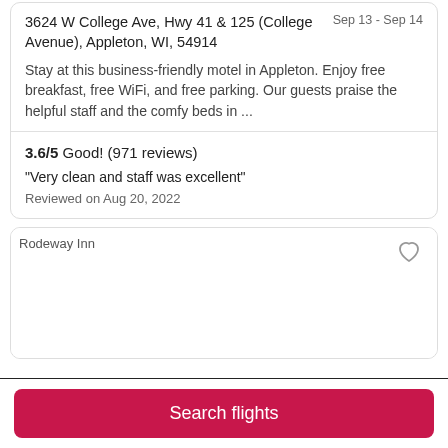3624 W College Ave, Hwy 41 & 125 (College Avenue), Appleton, WI, 54914
Sep 13 - Sep 14
Stay at this business-friendly motel in Appleton. Enjoy free breakfast, free WiFi, and free parking. Our guests praise the helpful staff and the comfy beds in ...
3.6/5 Good! (971 reviews)
"Very clean and staff was excellent"
Reviewed on Aug 20, 2022
[Figure (photo): Rodeway Inn hotel image placeholder]
Search flights